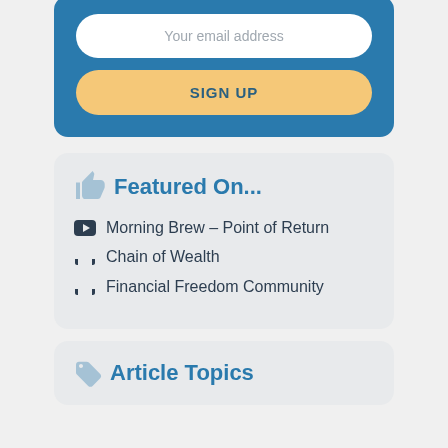Your email address
SIGN UP
Featured On...
Morning Brew – Point of Return
Chain of Wealth
Financial Freedom Community
Article Topics